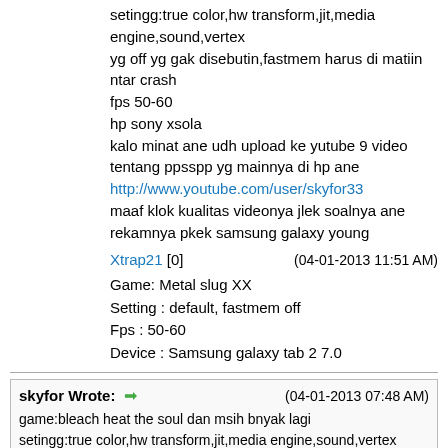setingg:true color,hw transform,jit,media engine,sound,vertex
yg off yg gak disebutin,fastmem harus di matiin ntar crash
fps 50-60
hp sony xsola
kalo minat ane udh upload ke yutube 9 video tentang ppsspp yg mainnya di hp ane
http://www.youtube.com/user/skyfor33
maaf klok kualitas videonya jlek soalnya ane rekamnya pkek samsung galaxy young
Xtrap21 [0]   (04-01-2013 11:51 AM)
Game: Metal slug XX
Setting : default, fastmem off
Fps : 50-60
Device : Samsung galaxy tab 2 7.0
skyfor Wrote: ➡ (04-01-2013 07:48 AM)
game:bleach heat the soul dan msih bnyak lagi
setingg:true color,hw transform,jit,media engine,sound,vertex
yg off yg gak disebutin,fastmem harus di matiin ntar crash
fps 50-60
hp sony xsola
kalo minat ane udh upload ke yutube 9 video tentang ppsspp yg mainnya di hp ane
http://www.youtube.com/user/skyfor33